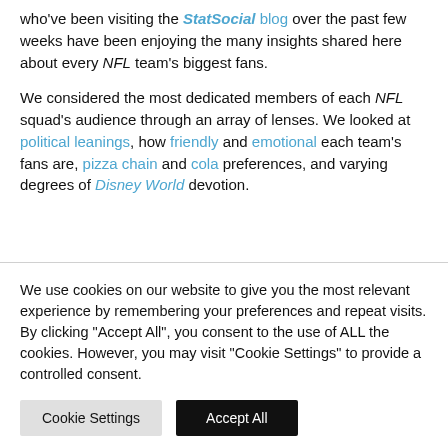who've been visiting the StatSocial blog over the past few weeks have been enjoying the many insights shared here about every NFL team's biggest fans.

We considered the most dedicated members of each NFL squad's audience through an array of lenses. We looked at political leanings, how friendly and emotional each team's fans are, pizza chain and cola preferences, and varying degrees of Disney World devotion.
We use cookies on our website to give you the most relevant experience by remembering your preferences and repeat visits. By clicking "Accept All", you consent to the use of ALL the cookies. However, you may visit "Cookie Settings" to provide a controlled consent.